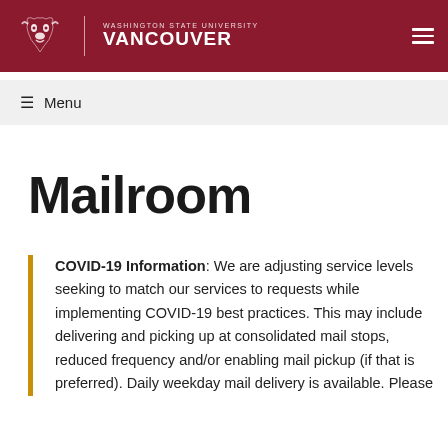Washington State University Vancouver
Mailroom
COVID-19 Information: We are adjusting service levels seeking to match our services to requests while implementing COVID-19 best practices. This may include delivering and picking up at consolidated mail stops, reduced frequency and/or enabling mail pickup (if that is preferred). Daily weekday mail delivery is available. Please